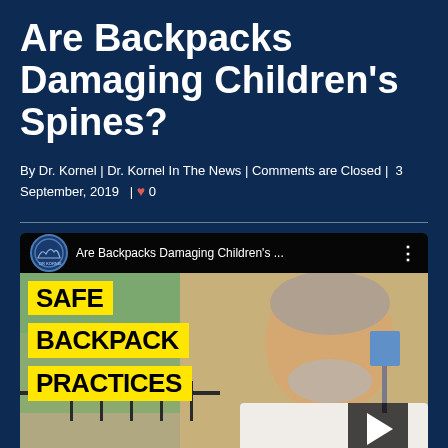Are Backpacks Damaging Children's Spines?
By Dr. Kornel | Dr. Kornel In The News | Comments are Closed | 3 September, 2019 | ♥ 0
[Figure (screenshot): YouTube video thumbnail showing a man outdoors with yellow banners reading 'SAFE BACKPACK PRACTICES' overlaid on the left side, with video title 'Are Backpacks Damaging Children's ...' in the top bar and a play button in the lower right.]